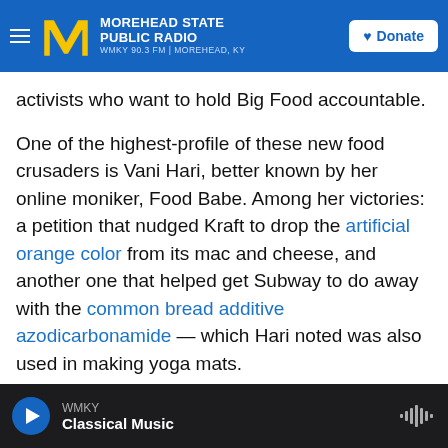Morehead State Public Radio — WMKY 90.3 FM | Morehead, KY — Donate
activists who want to hold Big Food accountable.
One of the highest-profile of these new food crusaders is Vani Hari, better known by her online moniker, Food Babe. Among her victories: a petition that nudged Kraft to drop the artificial orange color from its mac and cheese, and another one that helped get Subway to do away with the common bread additive azodicarbonamide — which Hari noted was also used in making yoga mats.
To followers on her website and on social media, who are known as the Food Babe Army, Hari is a
WMKY — Classical Music